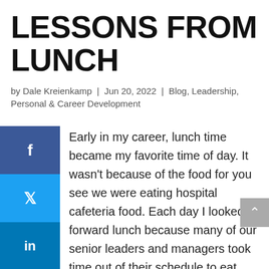LESSONS FROM LUNCH
by Dale Kreienkamp | Jun 20, 2022 | Blog, Leadership, Personal & Career Development
Early in my career, lunch time became my favorite time of day. It wasn't because of the food for you see we were eating hospital cafeteria food. Each day I looked forward lunch because many of our senior leaders and managers took time out of their schedule to eat lunch and enjoy conversations with each other. I doubt it happens often where you work today.